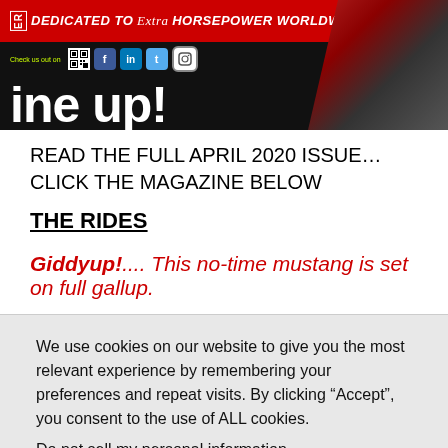[Figure (illustration): Magazine banner/header image for an automotive magazine. Red bar at top reads 'DEDICATED TO Extra HORSEPOWER WORLDWIDE'. Social media icons (QR code, Facebook, LinkedIn, Twitter, Instagram) below. Large stylized white text partially visible. Right side shows engine photo on dark background.]
READ THE FULL APRIL 2020 ISSUE…CLICK THE MAGAZINE BELOW
THE RIDES
Giddyup!.... This no-time mustang is set on full gallup.
We use cookies on our website to give you the most relevant experience by remembering your preferences and repeat visits. By clicking “Accept”, you consent to the use of ALL cookies.
Do not sell my personal information.
Cookie settings   ACCEPT